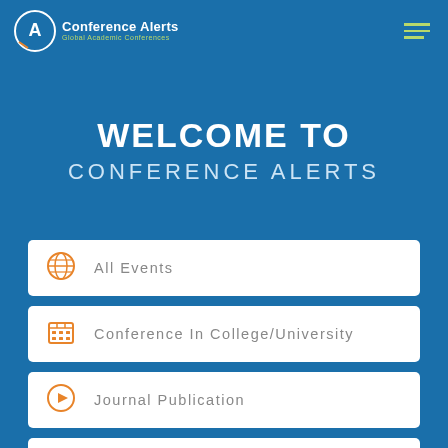Conference Alerts — Global Academic Conferences
WELCOME TO
CONFERENCE ALERTS
All Events
Conference In College/University
Journal Publication
High Impact Factor Conferences 2022